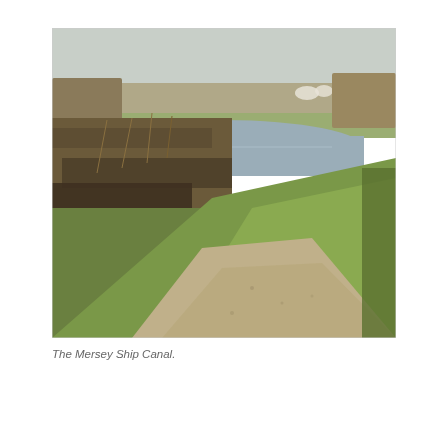[Figure (photo): Outdoor photograph of the Mersey Ship Canal showing a gravel and grass towpath in the foreground curving to the left, with bare winter shrubs and reeds lining the bank of a flat, still body of water visible in the mid-ground. Trees and a flat green field with distant white structures are visible on the far bank under a pale overcast sky. The scene is in winter with brown, leafless vegetation.]
The Mersey Ship Canal.